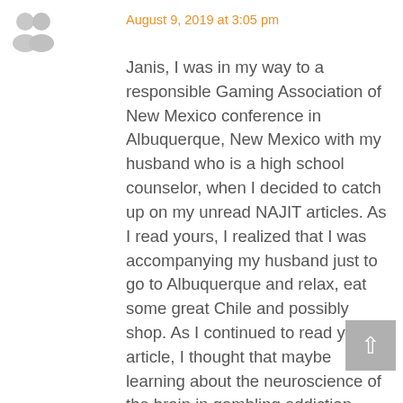[Figure (illustration): Two overlapping grey user avatar silhouette icons]
August 9, 2019 at 3:05 pm
Janis, I was in my way to a responsible Gaming Association of New Mexico conference in Albuquerque, New Mexico with my husband who is a high school counselor, when I decided to catch up on my unread NAJIT articles. As I read yours, I realized that I was accompanying my husband just to go to Albuquerque and relax, eat some great Chile and possibly shop. As I continued to read your article, I thought that maybe learning about the neuroscience of the brain in gambling addiction, although not my field, would probably be interesting. I asked my